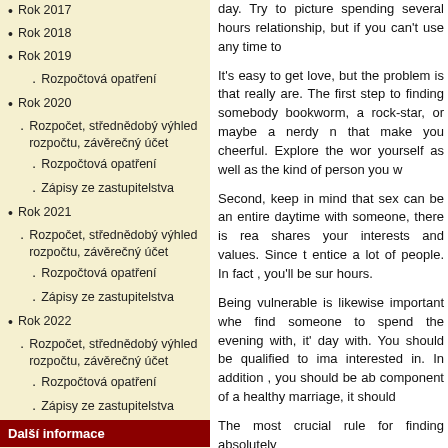Rok 2017
Rok 2018
Rok 2019
Rozpočtová opatření
Rok 2020
Rozpočet, střednědobý výhled rozpočtu, závěrečný účet
Rozpočtová opatření
Zápisy ze zastupitelstva
Rok 2021
Rozpočet, střednědobý výhled rozpočtu, závěrečný účet
Rozpočtová opatření
Zápisy ze zastupitelstva
Rok 2022
Rozpočet, střednědobý výhled rozpočtu, závěrečný účet
Rozpočtová opatření
Zápisy ze zastupitelstva
Další informace
Mapa webu
Prohlášení o přístupnosti
Co se děje
SOS
day. Try to picture spending several hours relationship, but if you can't use any time to
It's easy to get love, but the problem is that really are. The first step to finding somebody bookworm, a rock-star, or maybe a nerdy n that make you cheerful. Explore the wor yourself as well as the kind of person you w
Second, keep in mind that sex can be an entire daytime with someone, there is rea shares your interests and values. Since t entice a lot of people. In fact , you'll be sur hours.
Being vulnerable is likewise important whe find someone to spend the evening with, it' day with. You should be qualified to ima interested in. In addition , you should be ab component of a healthy marriage, it should
The most crucial rule for finding absolutely